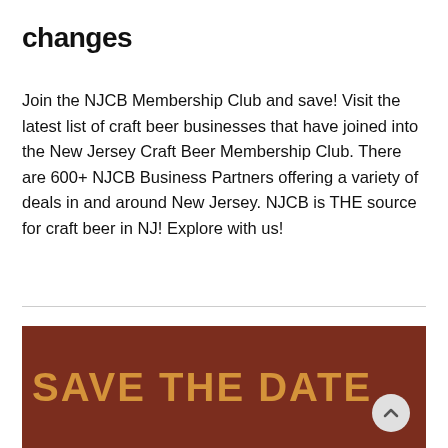changes
Join the NJCB Membership Club and save! Visit the latest list of craft beer businesses that have joined into the New Jersey Craft Beer Membership Club. There are 600+ NJCB Business Partners offering a variety of deals in and around New Jersey. NJCB is THE source for craft beer in NJ! Explore with us!
[Figure (other): Dark brown/maroon banner with large text reading SAVE THE DATE in golden/amber color, and a circular scroll-up button in the bottom right corner.]